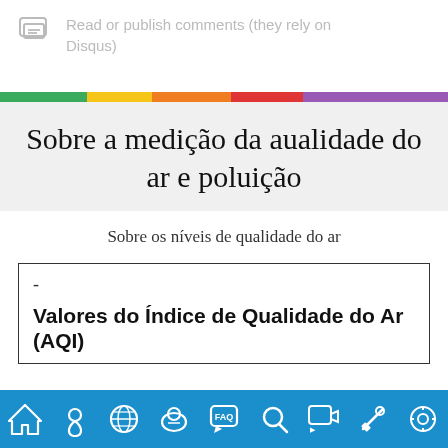Read or publish comments (they rely on Disqus)
[Figure (other): Rainbow colored horizontal divider bar with segments: green, yellow, orange, red, purple]
Sobre a medição da aualidade do ar e poluição
Sobre os níveis de qualidade do ar
-
Valores do Índice de Qualidade do Ar (AQI)
[Figure (other): Bottom navigation bar with icons: home, location pin, globe, mask/face, FAQ speech bubble, search, support/chat, edit/pencil, settings/gear]